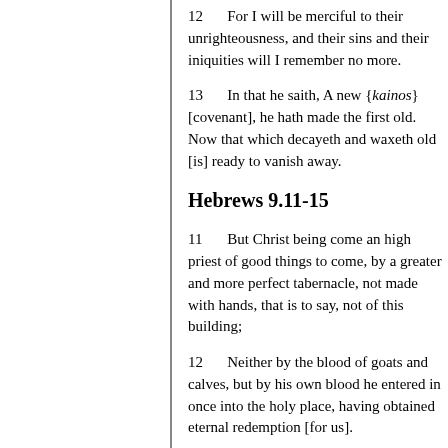12    For I will be merciful to their unrighteousness, and their sins and their iniquities will I remember no more.
13    In that he saith, A new {kainos} [covenant], he hath made the first old. Now that which decayeth and waxeth old [is] ready to vanish away.
Hebrews 9.11-15
11    But Christ being come an high priest of good things to come, by a greater and more perfect tabernacle, not made with hands, that is to say, not of this building;
12    Neither by the blood of goats and calves, but by his own blood he entered in once into the holy place, having obtained eternal redemption [for us].
13    For if the blood of bulls and of goats, and the ashes of an heifer sprinkling the unclean, sanctifieth to the purifying of the flesh:
14    How much more shall the blood of Christ, who through the eternal Spirit offered himself without spot to God, purge your conscience from dead works to serve the living God?